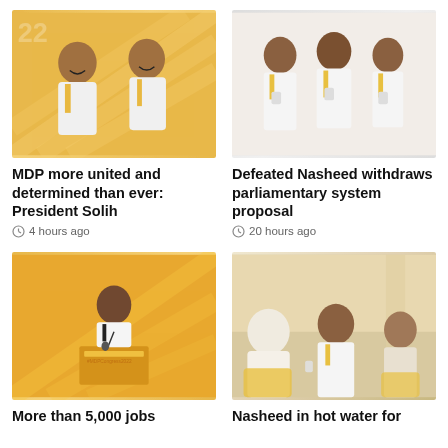[Figure (photo): Two men in white shirts and yellow ties smiling at an event with golden decorations in the background]
MDP more united and determined than ever: President Solih
4 hours ago
[Figure (photo): Three men in white shirts and yellow ties conversing at an event]
Defeated Nasheed withdraws parliamentary system proposal
20 hours ago
[Figure (photo): Man speaking at a podium with #MDPCongress2022 branding in front of an orange background]
More than 5,000 jobs
[Figure (photo): Man in yellow tie speaking with others seated in yellow chairs at an indoor event]
Nasheed in hot water for